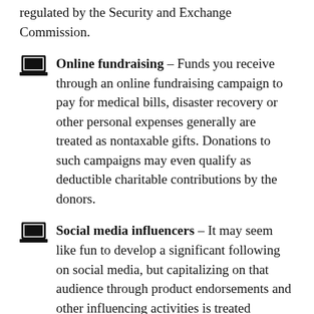regulated by the Security and Exchange Commission.
Online fundraising – Funds you receive through an online fundraising campaign to pay for medical bills, disaster recovery or other personal expenses generally are treated as nontaxable gifts. Donations to such campaigns may even qualify as deductible charitable contributions by the donors.
Social media influencers – It may seem like fun to develop a significant following on social media, but capitalizing on that audience through product endorsements and other influencing activities is treated